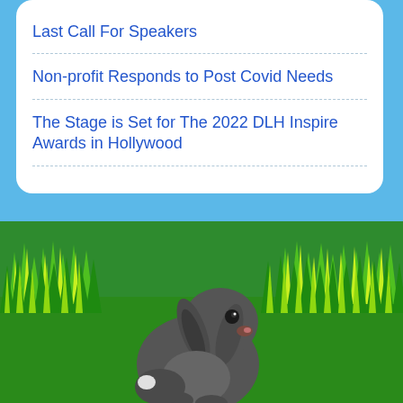Last Call For Speakers
Non-profit Responds to Post Covid Needs
The Stage is Set for The 2022 DLH Inspire Awards in Hollywood
[Figure (illustration): Illustrated scene showing a dark gray lop-eared bunny sitting in green grass against a light blue sky background.]